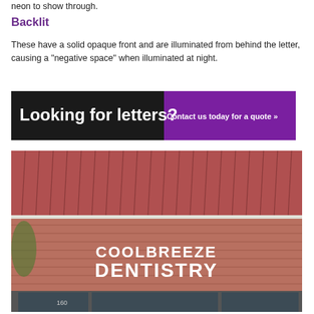neon to show through.
Backlit
These have a solid opaque front and are illuminated from behind the letter, causing a "negative space" when illuminated at night.
[Figure (infographic): Banner advertisement: black left side with bold white text 'Looking for letters?' and purple right side with white text 'Contact us today for a quote »']
[Figure (photo): Exterior photo of a brick building with a red metal roof, featuring large white channel letter signage reading 'COOLBREEZE DENTISTRY' mounted on the brick facade. Store number 160 visible on the door.]